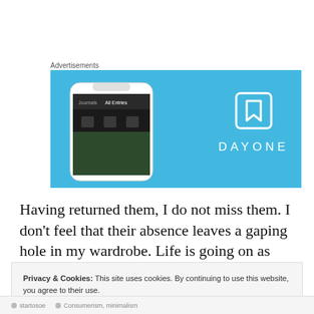Advertisements
[Figure (screenshot): Day One app advertisement on a light blue background, showing a smartphone with the app interface on the left, and the Day One logo (bookmark icon) with the text DAYONE on the right.]
Having returned them, I do not miss them. I don't feel that their absence leaves a gaping hole in my wardrobe. Life is going on as usual — even without the shoes. So
Privacy & Cookies: This site uses cookies. By continuing to use this website, you agree to their use.
To find out more, including how to control cookies, see here: Cookie Policy
Close and accept
startouoe   Consumerism, minimalism